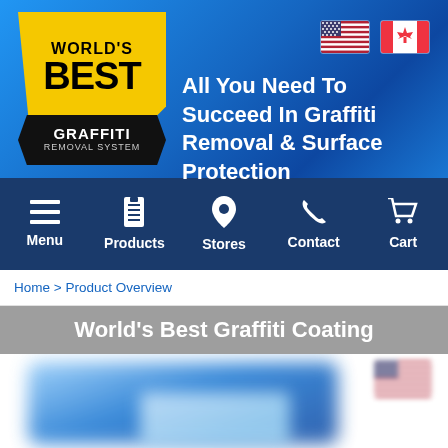[Figure (logo): World's Best Graffiti Removal System logo with yellow background, black ribbon, and text]
All You Need To Succeed In Graffiti Removal & Surface Protection
Menu | Products | Stores | Contact | Cart
Home > Product Overview
World's Best Graffiti Coating
[Figure (photo): Blurred product image of graffiti coating containers in blue packaging, with a small US flag icon in the top right corner]